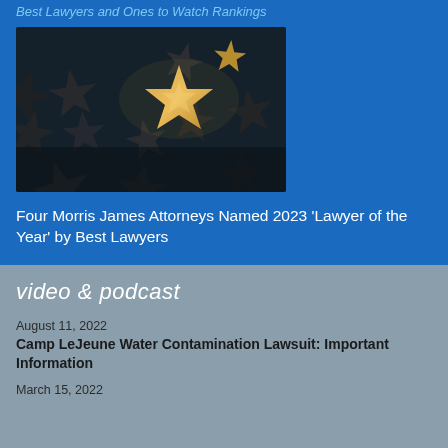Best Lawyers and Ones to Watch Rankings
[Figure (photo): Photo of metallic star shapes with one gold star standing out among dark silver stars]
Four Morris James Attorneys Named 2023 ‘Lawyer of the Year’ by Best Lawyers
video & podcast
August 11, 2022
Camp LeJeune Water Contamination Lawsuit: Important Information
March 15, 2022